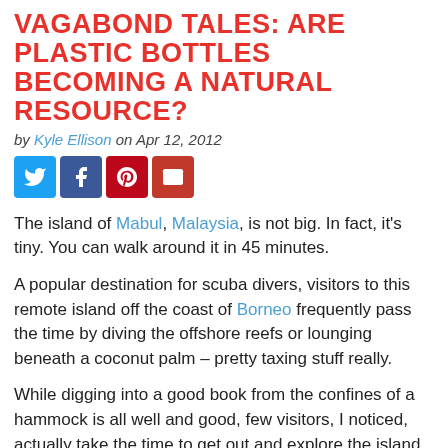VAGABOND TALES: ARE PLASTIC BOTTLES BECOMING A NATURAL RESOURCE?
by Kyle Ellison on Apr 12, 2012
[Figure (infographic): Social sharing buttons: Twitter, Facebook, Pinterest, Email]
The island of Mabul, Malaysia, is not big. In fact, it's tiny. You can walk around it in 45 minutes.
A popular destination for scuba divers, visitors to this remote island off the coast of Borneo frequently pass the time by diving the offshore reefs or lounging beneath a coconut palm – pretty taxing stuff really.
While digging into a good book from the confines of a hammock is all well and good, few visitors, I noticed, actually take the time to get out and explore the island. In the hour or so it took me to meander the circumference of the tropical sand spit, I encountered a grand total of zero other tourists.